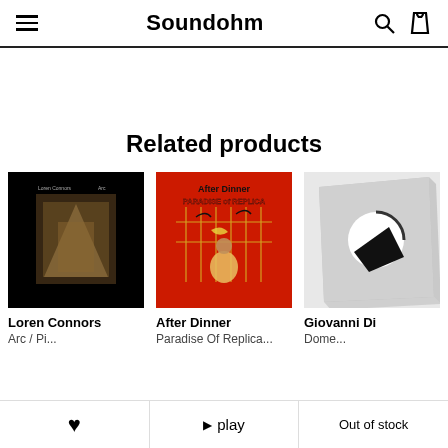Soundohm
Related products
[Figure (photo): Album cover for Loren Connors – dark/black background with sepia-toned room interior image]
Loren Connors
[Figure (photo): Album cover for After Dinner – Paradise of Replica – red background with illustrated cage and woman figure]
After Dinner
[Figure (photo): Album cover for Giovanni Di – grey tones with geometric abstract design featuring circle and angular shapes]
Giovanni Di
♥    ▶ play    Out of stock